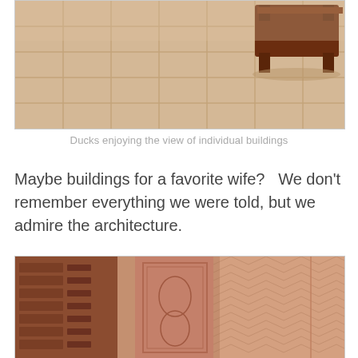[Figure (photo): Aerial view of a sandstone courtyard with grid-pattern stone tiles and a dark wooden low table or platform visible in the upper right corner.]
Ducks enjoying the view of individual buildings
Maybe buildings for a favorite wife?  We don't remember everything we were told, but we admire the architecture.
[Figure (photo): Close-up of intricately carved red sandstone architectural details showing ornate relief carvings with geometric and floral patterns on columns and wall panels.]